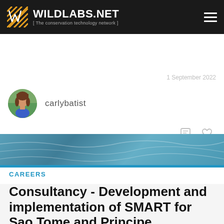WILDLABS.NET [ The conservation technology network ]
1 September 2022
carlybatist
CAREERS
Consultancy - Development and implementation of SMART for Sao Tome and Principe